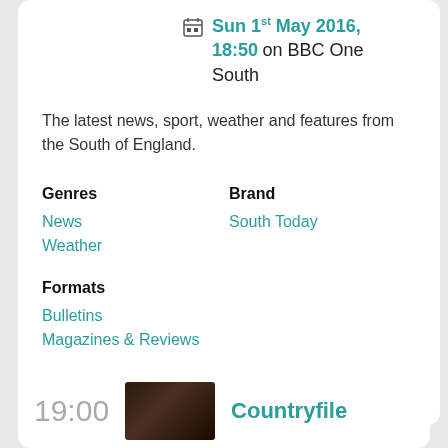Sun 1st May 2016, 18:50 on BBC One South
The latest news, sport, weather and features from the South of England.
Genres
Brand
News
Weather
South Today
Formats
Bulletins
Magazines & Reviews
Source: BBC Online
19:00
Countryfile